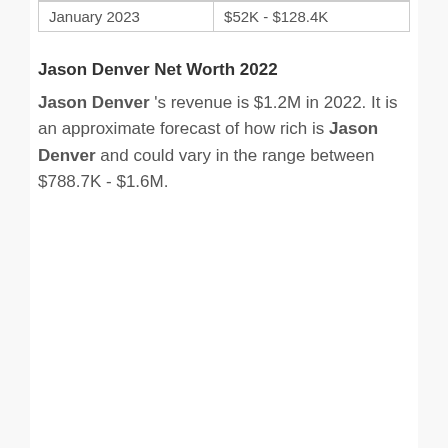| January 2023 | $52K - $128.4K |
Jason Denver Net Worth 2022
Jason Denver 's revenue is $1.2M in 2022. It is an approximate forecast of how rich is Jason Denver and could vary in the range between $788.7K - $1.6M.